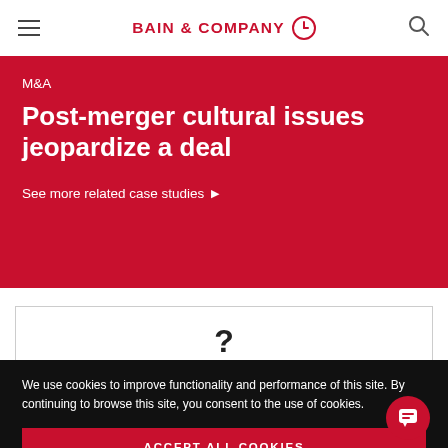BAIN & COMPANY
M&A
Post-merger cultural issues jeopardize a deal
See more related case studies ▶
?
We use cookies to improve functionality and performance of this site. By continuing to browse this site, you consent to the use of cookies.
ACCEPT ALL COOKIES
Manage cookie settings ▶